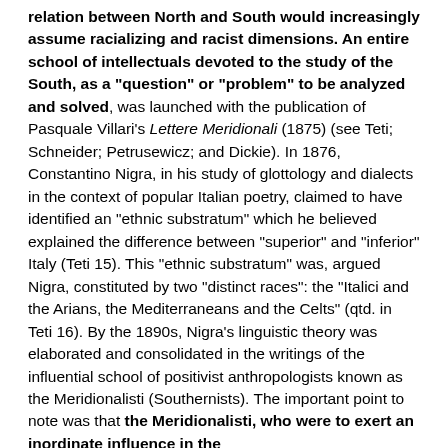relation between North and South would increasingly assume racializing and racist dimensions. An entire school of intellectuals devoted to the study of the South, as a "question" or "problem" to be analyzed and solved, was launched with the publication of Pasquale Villari's Lettere Meridionali (1875) (see Teti; Schneider; Petrusewicz; and Dickie). In 1876, Constantino Nigra, in his study of glottology and dialects in the context of popular Italian poetry, claimed to have identified an "ethnic substratum" which he believed explained the difference between "superior" and "inferior" Italy (Teti 15). This "ethnic substratum" was, argued Nigra, constituted by two "distinct races": the "Italici and the Arians, the Mediterraneans and the Celts" (qtd. in Teti 16). By the 1890s, Nigra's linguistic theory was elaborated and consolidated in the writings of the influential school of positivist anthropologists known as the Meridionalisti (Southernists). The important point to note was that the Meridionalisti, who were to exert an inordinate influence in the